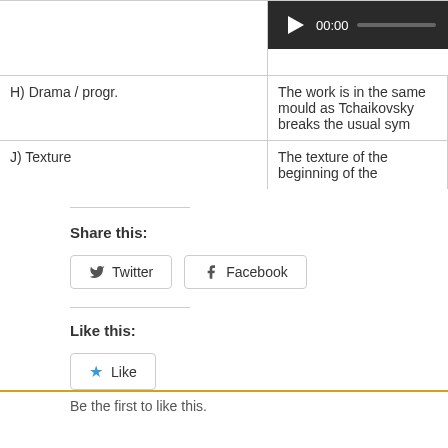| Category | Description |
| --- | --- |
|  | 00:00 [audio player] |
| H) Drama / progr. | The work is in the same mould as Tchaikovsky breaks the usual sym |
| J) Texture | The texture of the beginning of the |
Share this:
Twitter  Facebook
Like this:
Like
Be the first to like this.